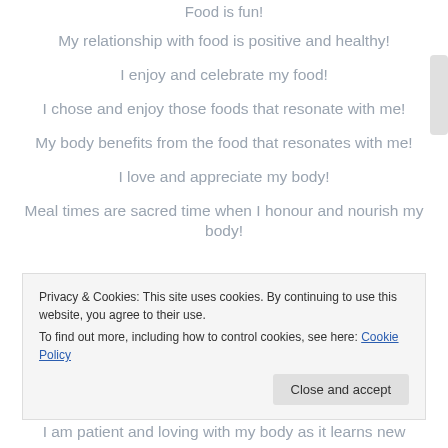Food is fun!
My relationship with food is positive and healthy!
I enjoy and celebrate my food!
I chose and enjoy those foods that resonate with me!
My body benefits from the food that resonates with me!
I love and appreciate my body!
Meal times are sacred time when I honour and nourish my body!
I am loved and loving!
Privacy & Cookies: This site uses cookies. By continuing to use this website, you agree to their use.
To find out more, including how to control cookies, see here: Cookie Policy
Close and accept
I am patient and loving with my body as it learns new...